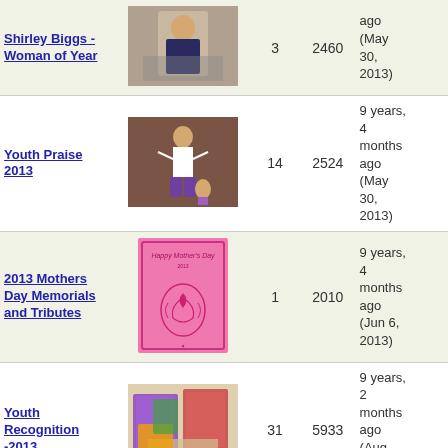| Title | Image | Comments | Views | Last Updated |
| --- | --- | --- | --- | --- |
| Shirley Biggs - Woman of Year | [photo] | 3 | 2460 | ago (May 30, 2013) |
| Youth Praise 2013 | [photo] | 14 | 2524 | 9 years, 4 months ago (May 30, 2013) |
| 2013 Mothers Day Memorials and Tributes | [pink card image] | 1 | 2010 | 9 years, 4 months ago (Jun 6, 2013) |
| Youth Recognition -2013 | [photo] | 31 | 5933 | 9 years, 2 months ago (Aug 11, 2013) |
| Homecoming 2013 | [photo] | 73 | 8362 | 9 years, 1 month ago (Sep |